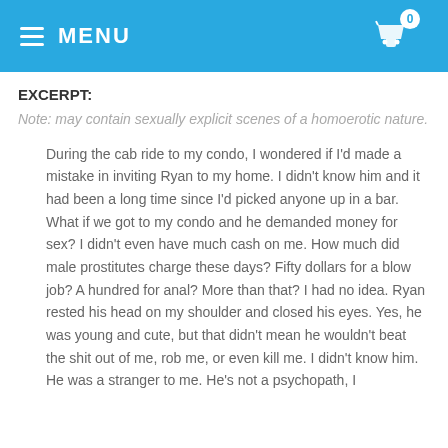MENU
EXCERPT:
Note: may contain sexually explicit scenes of a homoerotic nature.
During the cab ride to my condo, I wondered if I'd made a mistake in inviting Ryan to my home. I didn't know him and it had been a long time since I'd picked anyone up in a bar. What if we got to my condo and he demanded money for sex? I didn't even have much cash on me. How much did male prostitutes charge these days? Fifty dollars for a blow job? A hundred for anal? More than that? I had no idea. Ryan rested his head on my shoulder and closed his eyes. Yes, he was young and cute, but that didn't mean he wouldn't beat the shit out of me, rob me, or even kill me. I didn't know him. He was a stranger to me. He's not a psychopath, I